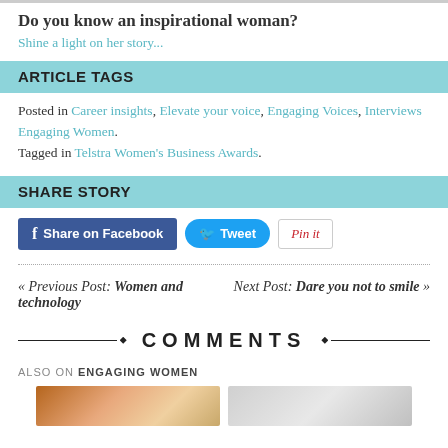Do you know an inspirational woman?
Shine a light on her story...
ARTICLE TAGS
Posted in Career insights, Elevate your voice, Engaging Voices, Interviews Engaging Women.
Tagged in Telstra Women's Business Awards.
SHARE STORY
Share on Facebook  Tweet  Pin it
« Previous Post: Women and technology
Next Post: Dare you not to smile »
COMMENTS
ALSO ON ENGAGING WOMEN